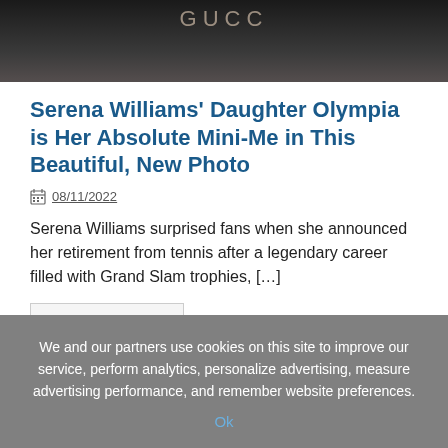[Figure (photo): Cropped photo showing a person in front of a GUCCI branded backdrop, only partial view visible at top of page.]
Serena Williams' Daughter Olympia is Her Absolute Mini-Me in This Beautiful, New Photo
08/11/2022
Serena Williams surprised fans when she announced her retirement from tennis after a legendary career filled with Grand Slam trophies, […]
» Read more
We and our partners use cookies on this site to improve our service, perform analytics, personalize advertising, measure advertising performance, and remember website preferences.
Ok